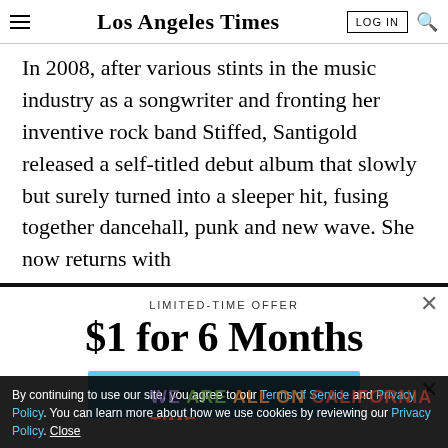Los Angeles Times
In 2008, after various stints in the music industry as a songwriter and fronting her inventive rock band Stiffed, Santigold released a self-titled debut album that slowly but surely turned into a sleeper hit, fusing together dancehall, punk and new wave. She now returns with
LIMITED-TIME OFFER
$1 for 6 Months
SUBSCRIBE NOW
By continuing to use our site, you agree to our Terms of Service and Privacy Policy. You can learn more about how we use cookies by reviewing our Privacy Policy. Close